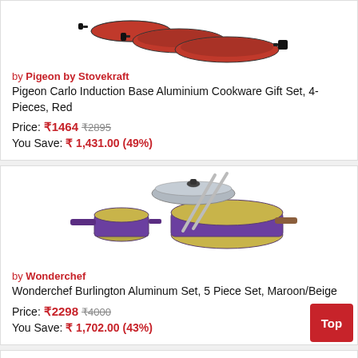[Figure (photo): Red frying pans cookware set by Pigeon by Stovekraft - 3 red pans with black handles]
by Pigeon by Stovekraft
Pigeon Carlo Induction Base Aluminium Cookware Gift Set, 4-Pieces, Red
Price: ₹1464  ₹2895
You Save: ₹ 1,431.00 (49%)
[Figure (photo): Maroon and beige cookware set by Wonderchef - Burlington Aluminum Set with pans, pot and lid]
by Wonderchef
Wonderchef Burlington Aluminum Set, 5 Piece Set, Maroon/Beige
Price: ₹2298  ₹4000
You Save: ₹ 1,702.00 (43%)